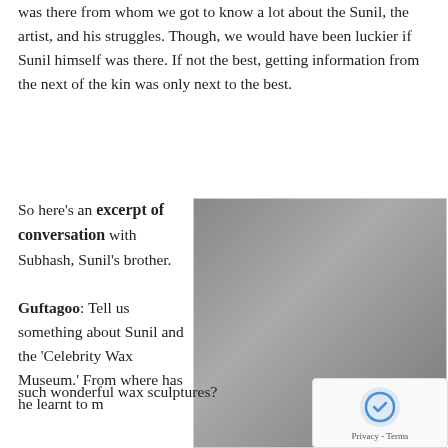was there from whom we got to know a lot about the Sunil, the artist, and his struggles. Though, we would have been luckier if Sunil himself was there. If not the best, getting information from the next of the kin was only next to the best.
So here's an excerpt of conversation with Subhash, Sunil's brother.
[Figure (photo): Two men in grey suits standing together in front of a Lonavala Wax Museum backdrop with Ford Indian Idol logos]
Prabhu Deva with his wax model made by Sunil
Guftagoo: Tell us something about Sunil and the 'Celebrity Wax Museum.' From where has he learnt to make such wonderful wax sculptures?